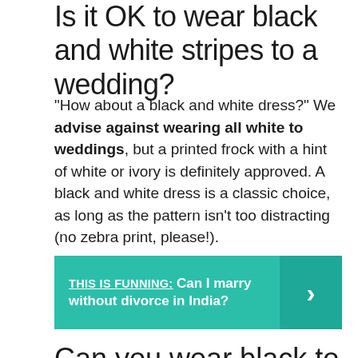Is it OK to wear black and white stripes to a wedding?
“How about a black and white dress?” We advise against wearing all white to weddings, but a printed frock with a hint of white or ivory is definitely approved. A black and white dress is a classic choice, as long as the pattern isn’t too distracting (no zebra print, please!).
THIS IS FUNNING: Can I marry without divorce in India?
Can you wear black to a wedding 2019?